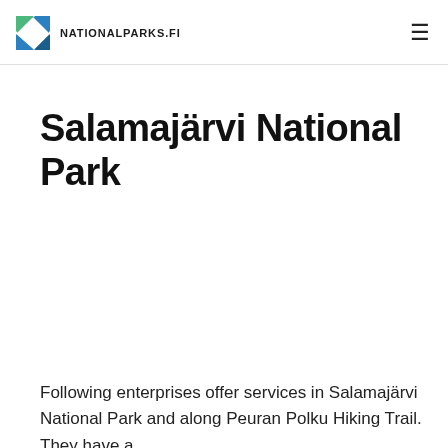NATIONALPARKS.FI
Salamajärvi National Park
Following enterprises offer services in Salamajärvi National Park and along Peuran Polku Hiking Trail. They have a